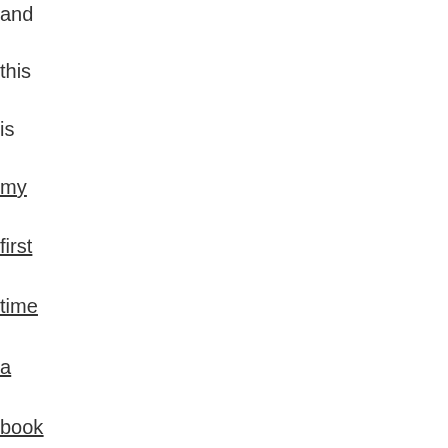and
this
is
my
first
time
a
book
is
translated
into
Spanish
Posted by Tony T Ahola at 06:xx PM in Books | Permalink